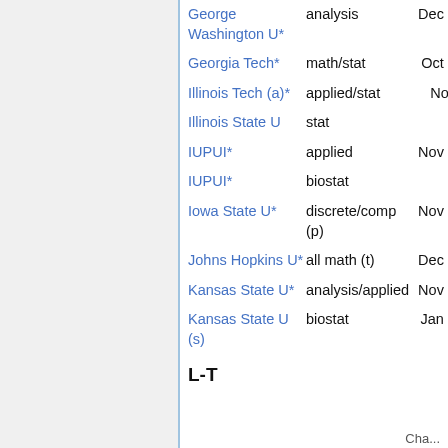| Institution | Field | Date |
| --- | --- | --- |
| George Washington U* | analysis | Dec 1 |
| Georgia Tech* | math/stat | Oct 1 |
| Illinois Tech (a)* | applied/stat | Nov |
| Illinois State U | stat | ? |
| IUPUI* | applied | Nov 1 |
| IUPUI* | biostat | ? |
| Iowa State U* | discrete/comp (p) | Nov 2 |
| Johns Hopkins U* | all math (t) | Dec 1 |
| Kansas State U* | analysis/applied | Nov 1 |
| Kansas State U (s) | biostat | Jan 1 |
L-T
Cha...